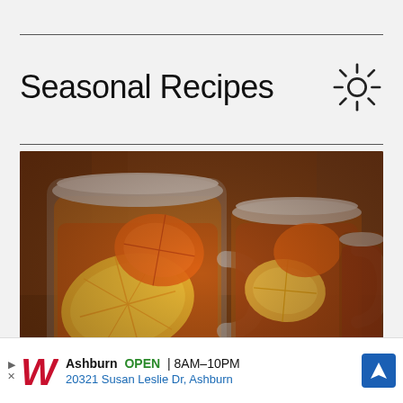Seasonal Recipes
[Figure (photo): Two mason jar glasses filled with iced tea and lemon/orange slices on a rustic wooden surface, warm vintage-toned photograph]
Ashburn OPEN | 8AM-10PM 20321 Susan Leslie Dr, Ashburn